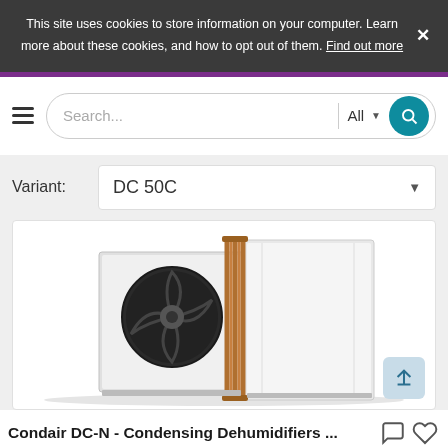This site uses cookies to store information on your computer. Learn more about these cookies, and how to opt out of them. Find out more
[Figure (screenshot): Search bar with hamburger menu, search input, All category dropdown, and teal search button]
Variant: DC 50C
[Figure (photo): HVAC condensing dehumidifier unit — white box with fan, copper coils, and silver cabinet on white background]
Condair DC-N - Condensing Dehumidifiers ...